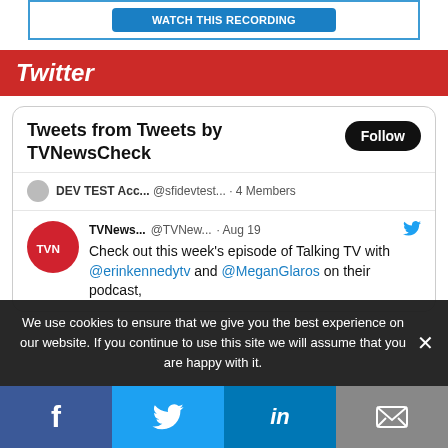[Figure (screenshot): Blue button at top of page]
Twitter
[Figure (screenshot): Twitter widget showing 'Tweets from Tweets by TVNewsCheck' with Follow button, DEV TEST Acc... @sfidevtest... 4 Members, and a tweet from TVNews... @TVNew... Aug 19 saying Check out this week's episode of Talking TV with @erinkennedytv and @MeganGlaros on their podcast,]
We use cookies to ensure that we give you the best experience on our website. If you continue to use this site we will assume that you are happy with it.
[Figure (infographic): Social share bar with Facebook, Twitter, LinkedIn, and email icons]